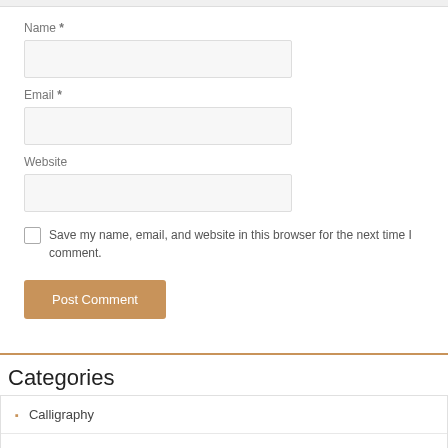Name *
Email *
Website
Save my name, email, and website in this browser for the next time I comment.
Post Comment
Categories
Calligraphy
Fonts
Hand lettering